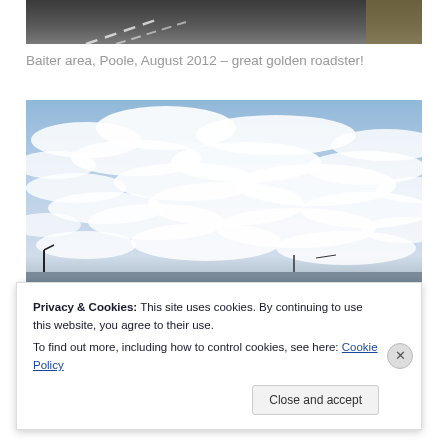[Figure (photo): Top of a road/street photo showing asphalt with white lane markings, partially cropped]
Baiter area, Poole, August 2012 – great golden roadster!
[Figure (photo): Sky photo with blue sky and scattered white clouds, taken at low angle with horizon visible at bottom]
Privacy & Cookies: This site uses cookies. By continuing to use this website, you agree to their use.
To find out more, including how to control cookies, see here: Cookie Policy
Close and accept